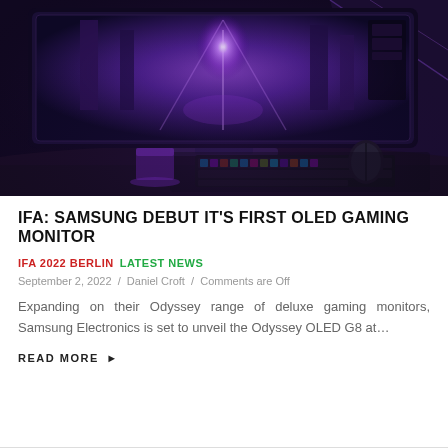[Figure (photo): Dark, atmospheric photo of a curved ultrawide gaming monitor displaying a video game scene with purple/blue lighting, RGB gaming keyboard, mouse, and gaming desk setup in a dark room with purple ambient lighting.]
IFA: SAMSUNG DEBUT IT'S FIRST OLED GAMING MONITOR
IFA 2022 BERLIN  LATEST NEWS
September 2, 2022 / Daniel Croft / Comments are Off
Expanding on their Odyssey range of deluxe gaming monitors, Samsung Electronics is set to unveil the Odyssey OLED G8 at...
READ MORE ▶